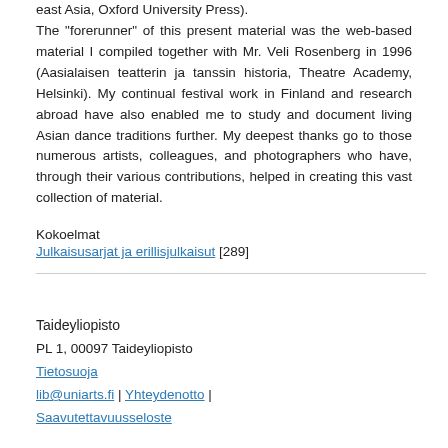east Asia, Oxford University Press). The "forerunner" of this present material was the web-based material I compiled together with Mr. Veli Rosenberg in 1996 (Aasialaisen teatterin ja tanssin historia, Theatre Academy, Helsinki). My continual festival work in Finland and research abroad have also enabled me to study and document living Asian dance traditions further. My deepest thanks go to those numerous artists, colleagues, and photographers who have, through their various contributions, helped in creating this vast collection of material.
Kokoelmat
Julkaisusarjat ja erillisjulkaisut [289]
Taideyliopisto
PL 1, 00097 Taideyliopisto
Tietosuoja
lib@uniarts.fi | Yhteydenotto | Saavutettavuusseloste